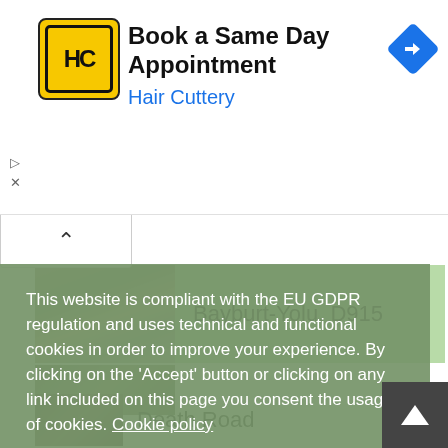[Figure (screenshot): Advertisement banner for Hair Cuttery. Yellow and black HC logo on left, text 'Book a Same Day Appointment' in bold black and 'Hair Cuttery' in blue. Blue diamond navigation arrow icon on right.]
Bayburt-Yolu. D915
This website is compliant with the EU GDPR regulation and uses technical and functional cookies in order to improve your experience. By clicking on the 'Accept' button or clicking on any link included on this page you consent the usage of cookies. Cookie policy
Privacy policy
Decline
Accept
Death Road